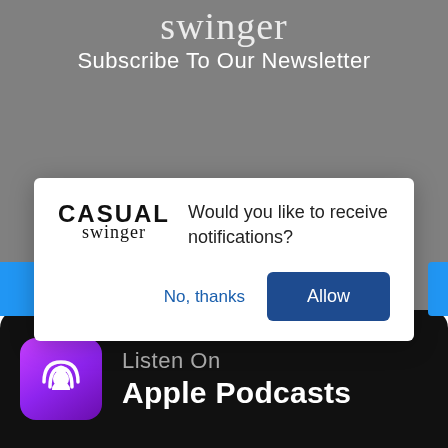[Figure (screenshot): Script/cursive style logo text partially visible at top against gray background]
Subscribe To Our Newsletter
[Figure (screenshot): Browser notification permission dialog with Casual Swinger logo asking 'Would you like to receive notifications?' with 'No, thanks' and 'Allow' buttons]
[Figure (logo): Listen On Apple Podcasts badge with purple podcast icon on black rounded rectangle background]